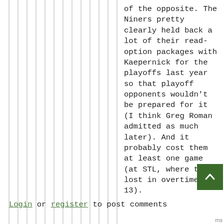of the opposite. The Niners pretty clearly held back a lot of their read-option packages with Kaepernick for the playoffs last year so that playoff opponents wouldn't be prepared for it (I think Greg Roman admitted as much later). And it probably cost them at least one game (at STL, where they lost in overtime 16-13).
Login or register to post comments